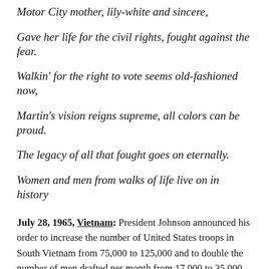Motor City mother, lily-white and sincere,
Gave her life for the civil rights, fought against the fear.
Walkin' for the right to vote seems old-fashioned now,
Martin's vision reigns supreme, all colors can be proud.
The legacy of all that fought goes on eternally.
Women and men from walks of life live on in history
July 28, 1965, Vietnam: President Johnson announced his order to increase the number of United States troops in South Vietnam from 75,000 to 125,000 and to double the number of men drafted per month from 17,000 to 35,000.
[Figure (photo): Dark/black background image with a teal/green circular shape visible at the bottom left corner of the page]